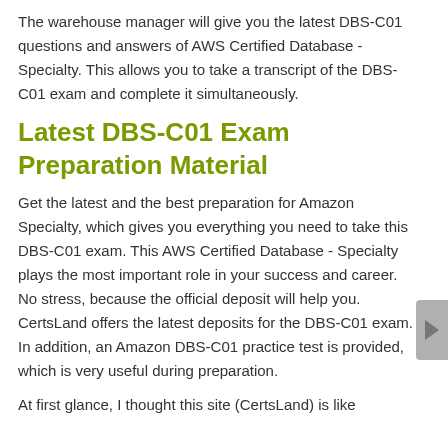The warehouse manager will give you the latest DBS-C01 questions and answers of AWS Certified Database - Specialty. This allows you to take a transcript of the DBS-C01 exam and complete it simultaneously.
Latest DBS-C01 Exam Preparation Material
Get the latest and the best preparation for Amazon Specialty, which gives you everything you need to take this DBS-C01 exam. This AWS Certified Database - Specialty plays the most important role in your success and career. No stress, because the official deposit will help you. CertsLand offers the latest deposits for the DBS-C01 exam. In addition, an Amazon DBS-C01 practice test is provided, which is very useful during preparation.
At first glance, I thought this site (CertsLand) is like